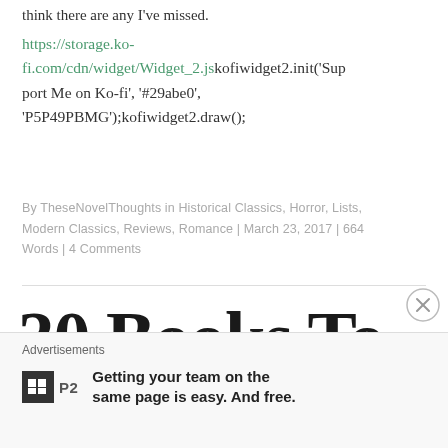think there are any I've missed.
https://storage.ko-fi.com/cdn/widget/Widget_2.jskofiwidget2.init('Support Me on Ko-fi', '#29abe0', 'P5P49PBMG');kofiwidget2.draw();
By TheseNovelThoughts in Historical Classics, Horror, Lists, Modern Classics, Reviews, Romance | March 23, 2017 | 664 Words | 4 Comments
30 Books To
Advertisements
Getting your team on the same page is easy. And free.